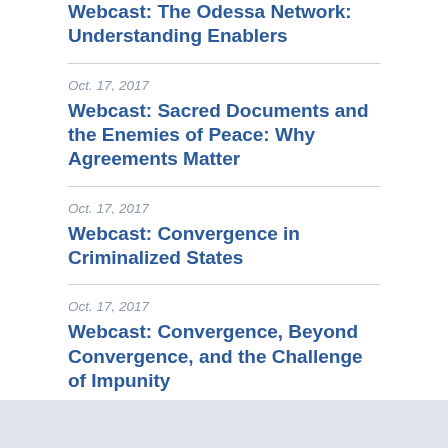Webcast: The Odessa Network: Understanding Enablers
Oct. 17, 2017
Webcast: Sacred Documents and the Enemies of Peace: Why Agreements Matter
Oct. 17, 2017
Webcast: Convergence in Criminalized States
Oct. 17, 2017
Webcast: Convergence, Beyond Convergence, and the Challenge of Impunity
July 1, 2017
Webcast: The Problem of Police